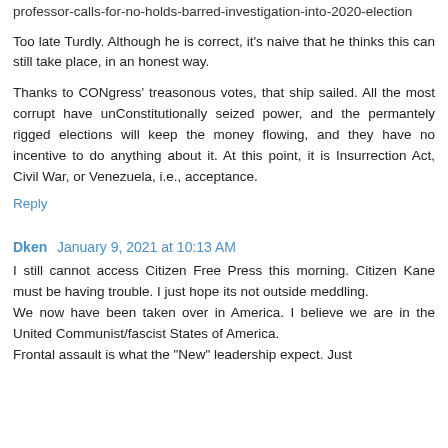professor-calls-for-no-holds-barred-investigation-into-2020-election
Too late Turdly. Although he is correct, it's naive that he thinks this can still take place, in an honest way.
Thanks to CONgress' treasonous votes, that ship sailed. All the most corrupt have unConstitutionally seized power, and the permantely rigged elections will keep the money flowing, and they have no incentive to do anything about it. At this point, it is Insurrection Act, Civil War, or Venezuela, i.e., acceptance.
Reply
Dken  January 9, 2021 at 10:13 AM
I still cannot access Citizen Free Press this morning. Citizen Kane must be having trouble. I just hope its not outside meddling.
We now have been taken over in America. I believe we are in the United Communist/fascist States of America.
Frontal assault is what the "New" leadership expect. Just